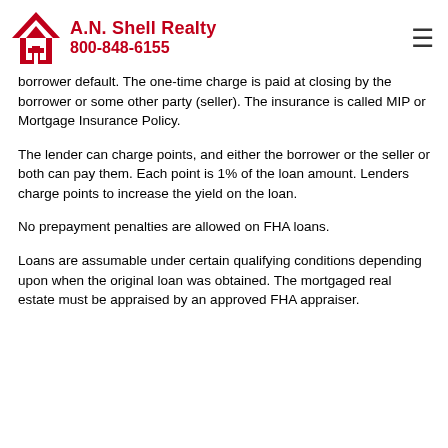A.N. Shell Realty 800-848-6155
borrower default. The one-time charge is paid at closing by the borrower or some other party (seller). The insurance is called MIP or Mortgage Insurance Policy.
The lender can charge points, and either the borrower or the seller or both can pay them. Each point is 1% of the loan amount. Lenders charge points to increase the yield on the loan.
No prepayment penalties are allowed on FHA loans.
Loans are assumable under certain qualifying conditions depending upon when the original loan was obtained. The mortgaged real estate must be appraised by an approved FHA appraiser.